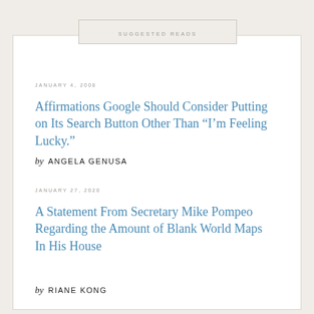SUGGESTED READS
JANUARY 4, 2008
Affirmations Google Should Consider Putting on Its Search Button Other Than “I’m Feeling Lucky.”
by ANGELA GENUSA
JANUARY 27, 2020
A Statement From Secretary Mike Pompeo Regarding the Amount of Blank World Maps In His House
by RIANE KONG